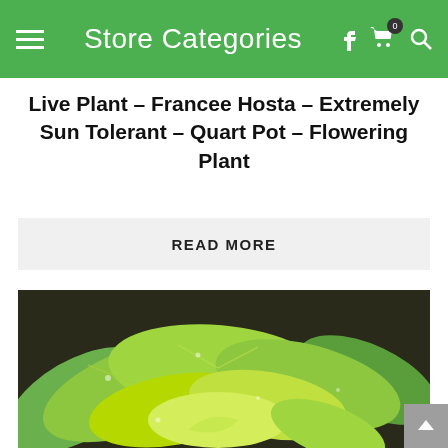Store Categories
Live Plant – Francee Hosta – Extremely Sun Tolerant – Quart Pot – Flowering Plant
READ MORE
[Figure (photo): A lush green Francee Hosta plant with large, broad, bright green leaves with visible veins and water droplets, photographed in a garden setting.]